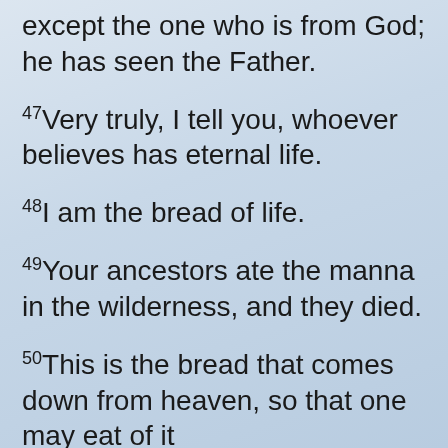except the one who is from God; he has seen the Father.
47Very truly, I tell you, whoever believes has eternal life.
48I am the bread of life.
49Your ancestors ate the manna in the wilderness, and they died.
50This is the bread that comes down from heaven, so that one may eat of it